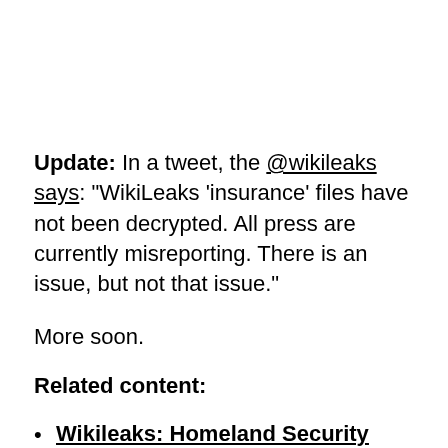Update: In a tweet, the @wikileaks says: "WikiLeaks 'insurance' files have not been decrypted. All press are currently misreporting. There is an issue, but not that issue."
More soon.
Related content:
Wikileaks: Homeland Security invokes Patriot Act on Assange; seeks server data
Wikileaks Assange: 'Facebook open to US